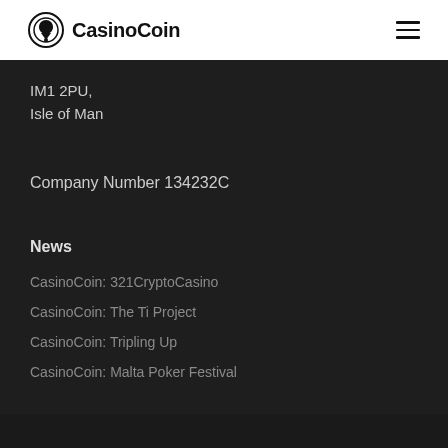CasinoCoin
IM1 2PU,
Isle of Man
Company Number 134232C
News
CasinoCoin: 321CryptoCasino
CasinoCoin: The Ti Project
CasinoCoin: Tripling Up
CasinoCoin: Malta Poker Festival